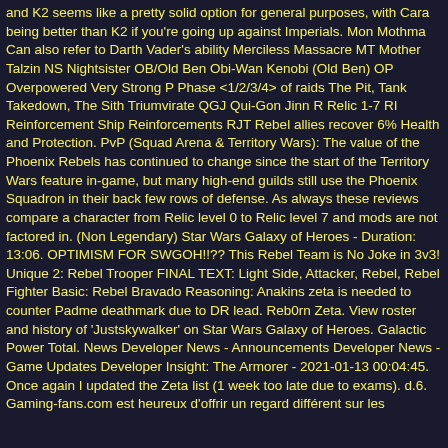and K2 seems like a pretty solid option for general purposes, with Cara being better than K2 if you're going up against Imperials. Mon Mothma Can also refer to Darth Vader's ability Merciless Massacre MT Mother Talzin NS Nightsister OB/Old Ben Obi-Wan Kenobi (Old Ben) OP Overpowered Very Strong P Phase <1/2/3/4> of raids The Pit, Tank Takedown, The Sith Triumvirate QGJ Qui-Gon Jinn R Relic 1-7 RI Reinforcement Ship Reinforcements RJT Rebel allies recover 6% Health and Protection. PvP (Squad Arena & Territory Wars): The value of the Phoenix Rebels has continued to change since the start of the Territory Wars feature in-game, but many high-end guilds still use the Phoenix Squadron in their back few rows of defense. As always these reviews compare a character from Relic level 0 to Relic level 7 and mods are not factored in. (Non Legendary) Star Wars Galaxy of Heroes - Duration: 13:06. OPTIMISM FOR SWGOH!!?? This Rebel Team is No Joke in 3v3! Unique 2: Rebel Trooper FINAL TEXT: Light Side, Attacker, Rebel, Rebel Fighter Basic: Rebel Bravado Reasoning: Anakins zeta is needed to counter Padme deathmark due to DR lead. Reb0rn Zeta. View roster and history of 'Justskywalker' on Star Wars Galaxy of Heroes. Galactic Power Total. News Developer News - Announcements Developer News - Game Updates Developer Insight: The Armorer - 2021-01-13 00:04:45. Once again I updated the Zeta list (1 week too late due to exams). d.6. Gaming-fans.com est heureux d'offrir un regard différent sur les